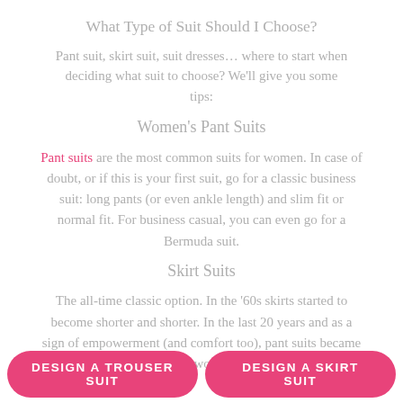What Type of Suit Should I Choose?
Pant suit, skirt suit, suit dresses… where to start when deciding what suit to choose? We'll give you some tips:
Women's Pant Suits
Pant suits are the most common suits for women. In case of doubt, or if this is your first suit, go for a classic business suit: long pants (or even ankle length) and slim fit or normal fit. For business casual, you can even go for a Bermuda suit.
Skirt Suits
The all-time classic option. In the '60s skirts started to become shorter and shorter. In the last 20 years and as a sign of empowerment (and comfort too), pant suits became more popular. For the last two years skirt suits have been more popular again. At first a...
DESIGN A TROUSER SUIT
DESIGN A SKIRT SUIT